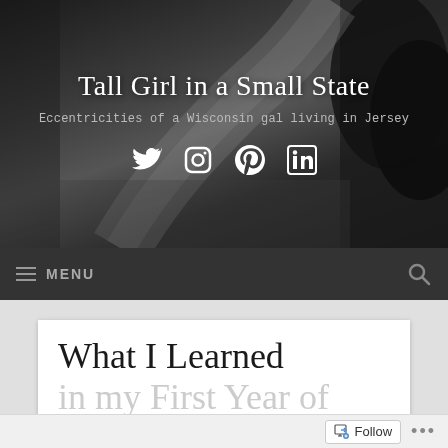[Figure (screenshot): Blog header banner with dark/monochrome road photo background, showing site title and subtitle]
Tall Girl in a Small State
Eccentricities of a Wisconsin gal living in Jersey
[Figure (illustration): Social media icons: Twitter, Instagram, Pinterest, LinkedIn]
MENU
What I Learned in my First Year of